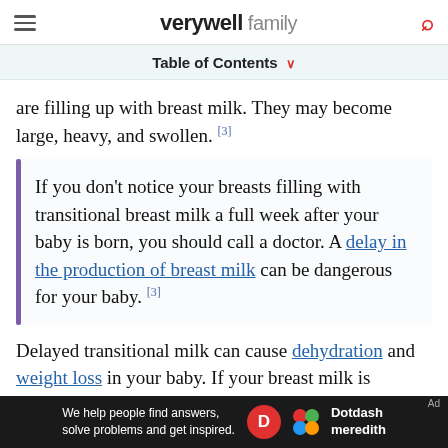verywell family
Table of Contents
are filling up with breast milk. They may become large, heavy, and swollen. [3]
If you don't notice your breasts filling with transitional breast milk a full week after your baby is born, you should call a doctor. A delay in the production of breast milk can be dangerous for your baby. [3]
Delayed transitional milk can cause dehydration and weight loss in your baby. If your breast milk is
[Figure (other): Dotdash Meredith advertisement banner: 'We help people find answers, solve problems and get inspired.']